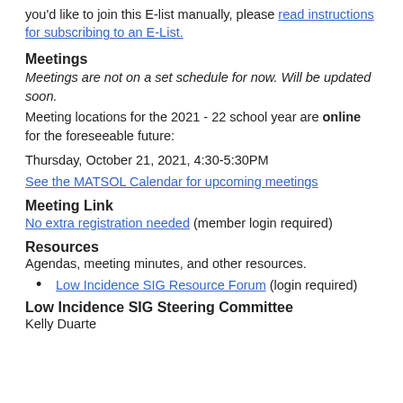you'd like to join this E-list manually, please read instructions for subscribing to an E-List.
Meetings
Meetings are not on a set schedule for now. Will be updated soon.
Meeting locations for the 2021 - 22 school year are online for the foreseeable future:
Thursday, October 21, 2021, 4:30-5:30PM
See the MATSOL Calendar for upcoming meetings
Meeting Link
No extra registration needed (member login required)
Resources
Agendas, meeting minutes, and other resources.
Low Incidence SIG Resource Forum (login required)
Low Incidence SIG Steering Committee
Kelly Duarte